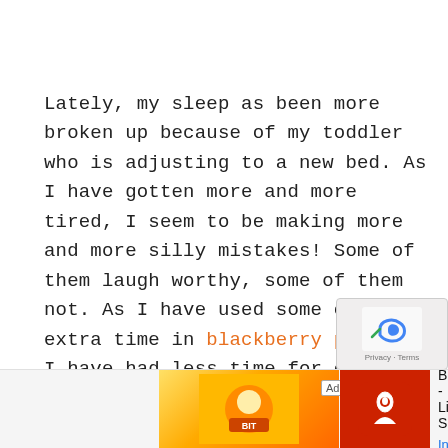Lately, my sleep as been more broken up because of my toddler who is adjusting to a new bed. As I have gotten more and more tired, I seem to be making more and more silly mistakes! Some of them laugh worthy, some of them not. As I have used some of my extra time in blackberry picking, I have had less time for other chores around the house (like laundry). But as it relates to the kitchen, I have realized these last few weeks that lack of sleep is costly! (Just when I am trying to come up with brilliant ideas for the Nourishing Portable Food Carnival!)
[Figure (screenshot): Advertisement banner for BitLife - Life Simulator app with install button]